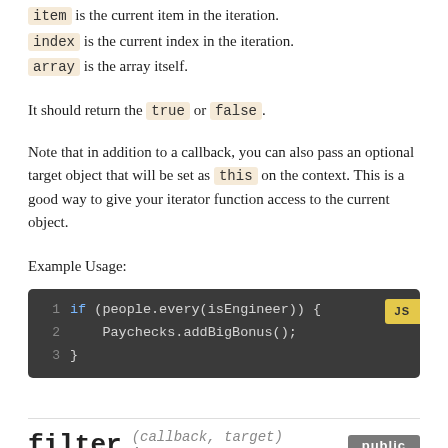item is the current item in the iteration.
index is the current index in the iteration.
array is the array itself.
It should return the true or false.
Note that in addition to a callback, you can also pass an optional target object that will be set as this on the context. This is a good way to give your iterator function access to the current object.
Example Usage:
[Figure (screenshot): Code block showing JavaScript example: if (people.every(isEngineer)) { Paychecks.addBigBonus(); } with line numbers 1-3 and JS badge]
filter (callback, target) Array public